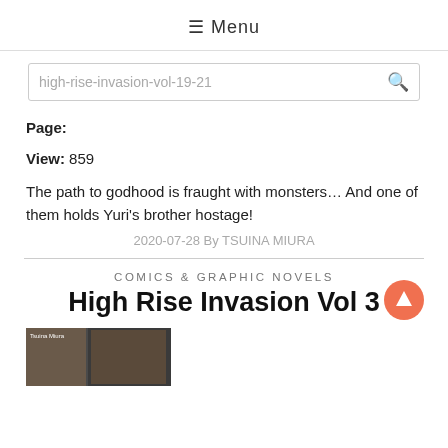☰ Menu
high-rise-invasion-vol-19-21
Page:
View: 859
The path to godhood is fraught with monsters… And one of them holds Yuri's brother hostage!
2020-07-28 By TSUINA MIURA
COMICS & GRAPHIC NOVELS
High Rise Invasion Vol 3
[Figure (photo): Book cover thumbnail of High Rise Invasion Vol 3]